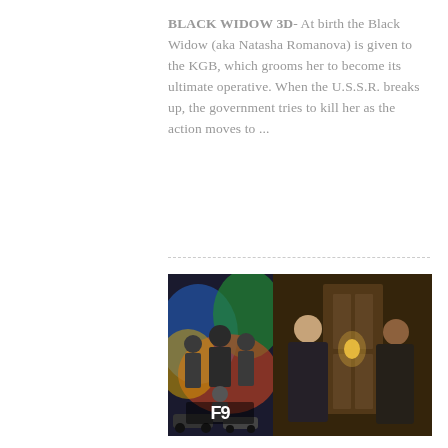BLACK WIDOW 3D- At birth the Black Widow (aka Natasha Romanova) is given to the KGB, which grooms her to become its ultimate operative. When the U.S.S.R. breaks up, the government tries to kill her as the action moves to ...
[Figure (photo): Two side-by-side movie images: left panel shows the Fast & Furious F9 movie poster with cast group shot against colorful smoke background with F9 logo; right panel shows two men in suits facing each other in a dimly lit ornate interior setting.]